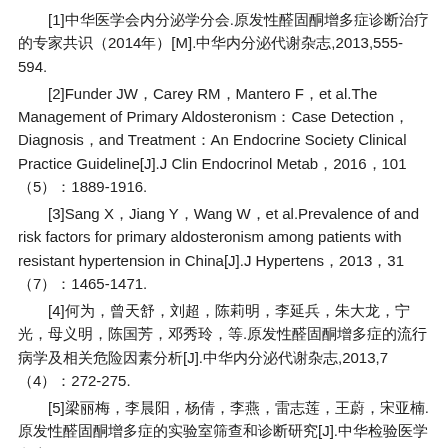[1]中华医学会内分泌学分会.原发性醛固酮增多症诊断治疗的专家共识（2014年）[M].中华内分泌代谢杂志,2013,555-594.
[2]Funder JW，Carey RM，Mantero F，et al.The Management of Primary Aldosteronism：Case Detection，Diagnosis，and Treatment：An Endocrine Society Clinical Practice Guideline[J].J Clin Endocrinol Metab，2016，101（5）：1889-1916.
[3]Sang X，Jiang Y，Wang W，et al.Prevalence of and risk factors for primary aldosteronism among patients with resistant hypertension in China[J].J Hypertens，2013，31（7）：1465-1471.
[4]何为，曾天舒，刘超，陈莉明，李延兵，朱大龙，宁光，母义明，陈国芳，邓秀玲，等.原发性醛固酮增多症的流行病学及相关危险因素分析[J].中华内分泌代谢杂志,2013,7（4）：272-275.
[5]梁丽梅，李晨阳，杨倩，李燕，雷志莲，王蔚，宋亚楠.原发性醛固酮增多症的实验室筛查和诊断研究[J].中华检验医学杂志，2016，32（3）：188-195.
[6]Dick SM，Queiroz M，Bernardi BL，et al.Update in diagnosis and management of primary aldosteronism[J].Clin Chem Lab Med，2018，56（3）：360-372.